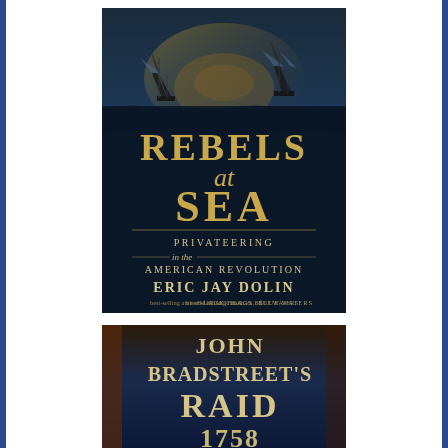[Figure (illustration): Book cover of 'Rebels at Sea: Privateering in the American Revolution' by Eric Jay Dolin. Dark nautical scene with sailing ships at sea. Title text in large serif gold/cream letters. Subtitle 'Privateering in the American Revolution'. Author name 'Eric Jay Dolin' at bottom. Tagline 'best-selling author of Black Flag, Blue Waters'.]
[Figure (illustration): Book cover of 'John Bradstreet's Raid 1758'. Dark blue/brown background with large weathered serif letters spelling out 'JOHN BRADSTREET'S RAID 1758'.]